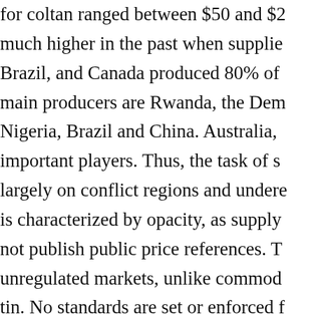for coltan ranged between $50 and $2... much higher in the past when supplie... Brazil, and Canada produced 80% of... main producers are Rwanda, the Dem... Nigeria, Brazil and China. Australia, ... important players. Thus, the task of s... largely on conflict regions and undere... is characterized by opacity, as supply... not publish public price references. T... unregulated markets, unlike commod... tin. No standards are set or enforced ... safety procedures is the responsibility... be said to] prioritize worker well-bei...
A report by the Commission of the ... of child labour in coltan mining in DI... Ghana and China. [….] In 2016, Am... investigation with African NGO Afri...